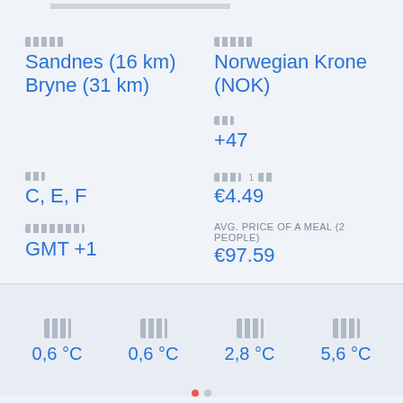Sandnes (16 km)
Bryne (31 km)
Norwegian Krone (NOK)
+47
C, E, F
€4.49
GMT +1
AVG. PRICE OF A MEAL (2 PEOPLE)
€97.59
0,6 °C
0,6 °C
2,8 °C
5,6 °C